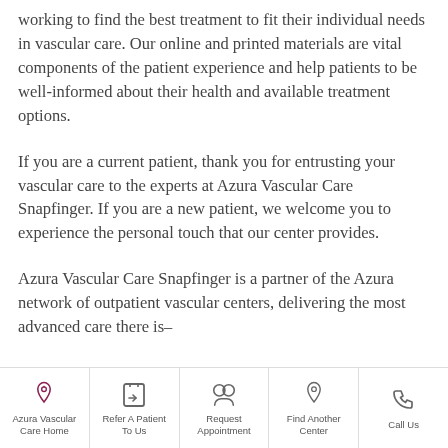working to find the best treatment to fit their individual needs in vascular care. Our online and printed materials are vital components of the patient experience and help patients to be well-informed about their health and available treatment options.
If you are a current patient, thank you for entrusting your vascular care to the experts at Azura Vascular Care Snapfinger. If you are a new patient, we welcome you to experience the personal touch that our center provides.
Azura Vascular Care Snapfinger is a partner of the Azura network of outpatient vascular centers, delivering the most advanced care there is–
Azura Vascular Care Home | Refer A Patient To Us | Request Appointment | Find Another Center | Call Us